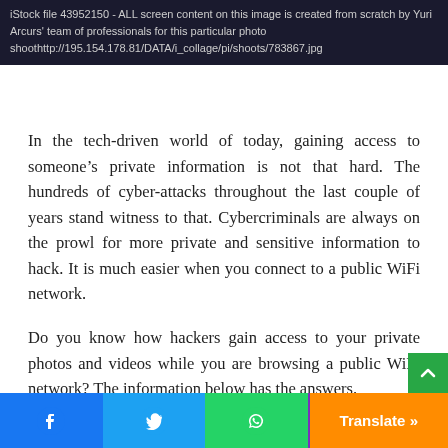iStock file 43952150 - ALL screen content on this image is created from scratch by Yuri Arcurs' team of professionals for this particular photo shoothttp://195.154.178.81/DATA/i_collage/pi/shoots/783867.jpg
In the tech-driven world of today, gaining access to someone’s private information is not that hard. The hundreds of cyber-attacks throughout the last couple of years stand witness to that. Cybercriminals are always on the prowl for more private and sensitive information to hack. It is much easier when you connect to a public WiFi network.
Do you know how hackers gain access to your private photos and videos while you are browsing a public WiFi network? The information below has the answers.
How do Cybercriminals Steal Personal Data?